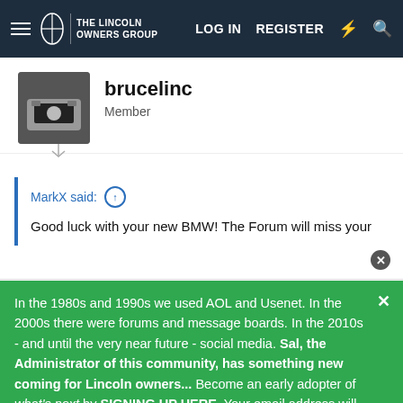THE LINCOLN OWNERS GROUP — LOG IN  REGISTER
brucelinc
Member
MarkX said: ↑

Good luck with your new BMW! The Forum will miss your contributions...
In the 1980s and 1990s we used AOL and Usenet. In the 2000s there were forums and message boards. In the 2010s - and until the very near future - social media. Sal, the Administrator of this community, has something new coming for Lincoln owners... Become an early adopter of what's next by SIGNING UP HERE. Your email address will
[Figure (screenshot): Advertisement banner with cm logo, checkmarks for In-store shopping, Curbside pickup, Delivery, and a blue navigation arrow icon]